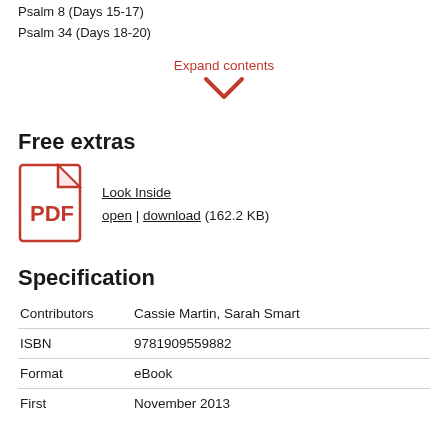Psalm 8 (Days 15-17)
Psalm 34 (Days 18-20)
Expand contents
[Figure (illustration): Downward chevron/arrow icon in red]
Free extras
[Figure (illustration): Red PDF document icon with Adobe Acrobat logo]
Look Inside
open | download (162.2 KB)
Specification
| Contributors | Cassie Martin, Sarah Smart |
| ISBN | 9781909559882 |
| Format | eBook |
| First | November 2013 |